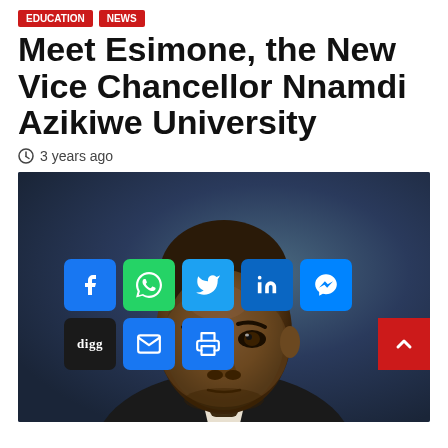EDUCATION | NEWS
Meet Esimone, the New Vice Chancellor Nnamdi Azikiwe University
3 years ago
[Figure (photo): Portrait photo of Esimone, new Vice Chancellor of Nnamdi Azikiwe University, a man in professional attire against a blue background, with social media sharing buttons overlaid at the bottom]